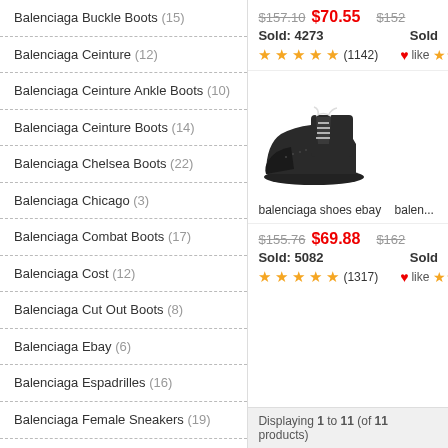Balenciaga Buckle Boots (15)
Balenciaga Ceinture (12)
Balenciaga Ceinture Ankle Boots (10)
Balenciaga Ceinture Boots (14)
Balenciaga Chelsea Boots (22)
Balenciaga Chicago (3)
Balenciaga Combat Boots (17)
Balenciaga Cost (12)
Balenciaga Cut Out Boots (8)
Balenciaga Ebay (6)
Balenciaga Espadrilles (16)
Balenciaga Female Sneakers (19)
Balenciaga Flats (20)
Balenciaga Girl Shoes (10)
Balenciaga Gold Boots (10)
$157.10  $70.55   $152...   Sold: 4273   Sold...   ★★★★★(1142)  ❤like ★★...
[Figure (photo): Black Balenciaga high-top sneakers with laces]
balenciaga shoes ebay   balen...
$155.76  $69.88   $162...   Sold: 5082   Sold...   ★★★★★(1317)  ❤like ★★...
Displaying 1 to 11 (of 11 products)